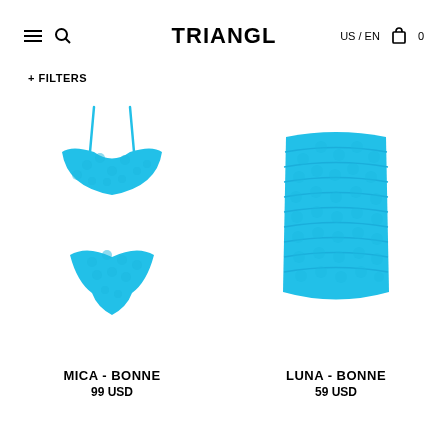TRIANGL  US / EN  0
+ FILTERS
[Figure (photo): Cyan/turquoise textured bikini set (top and bottom) from Triangl brand, product MICA - BONNE]
MICA - BONNE
99 USD
[Figure (photo): Cyan/turquoise textured mini skirt from Triangl brand, product LUNA - BONNE]
LUNA - BONNE
59 USD